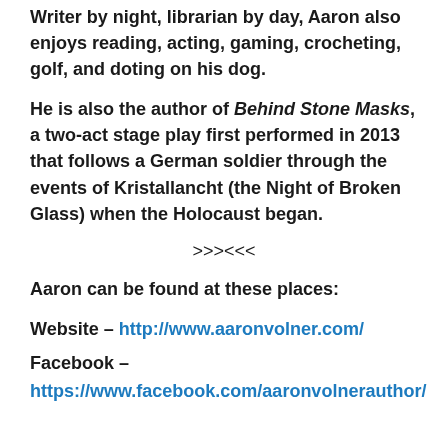Writer by night, librarian by day, Aaron also enjoys reading, acting, gaming, crocheting, golf, and doting on his dog.
He is also the author of Behind Stone Masks, a two-act stage play first performed in 2013 that follows a German soldier through the events of Kristallancht (the Night of Broken Glass) when the Holocaust began.
>>><<<
Aaron can be found at these places:
Website – http://www.aaronvolner.com/
Facebook – https://www.facebook.com/aaronvolnerauthor/